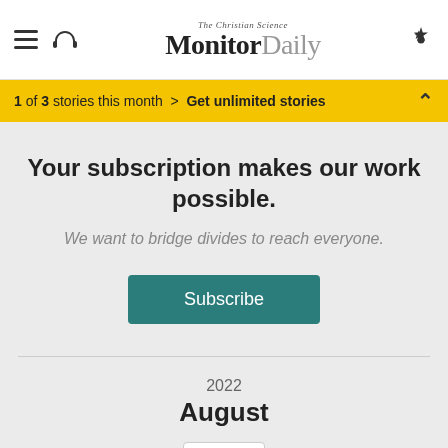The Christian Science Monitor Daily
1 of 3 stories this month > Get unlimited stories
Your subscription makes our work possible.
We want to bridge divides to reach everyone.
Subscribe
2022
August
26